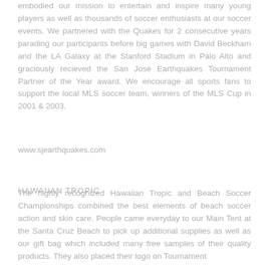embodied our mission to entertain and inspire many young players as well as thousands of soccer enthusiasts at our soccer events. We partnered with the Quakes for 2 consecutive years parading our participants before big games with David Beckham and the LA Galaxy at the Stanford Stadium in Palo Alto and graciously recieved the San Jose Earthquakes Tournament Partner of the Year award. We encourage all sports fans to support the local MLS soccer team, winners of the MLS Cup in 2001 & 2003.
www.sjearthquakes.com
HAWAIIAN TROPIC
The highly recognized Hawaiian Tropic and Beach Soccer Championships combined the best elements of beach soccer action and skin care. People came everyday to our Main Tent at the Santa Cruz Beach to pick up additional supplies as well as our gift bag which included many free samples of their quality products. They also placed their logo on Tournament